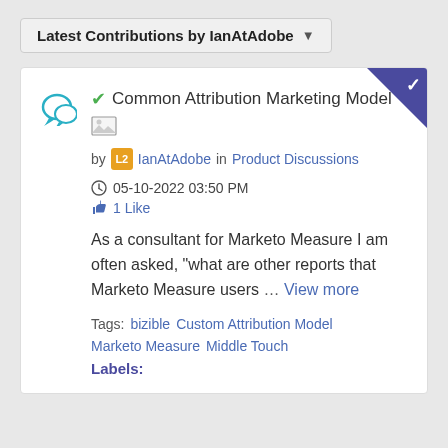Latest Contributions by IanAtAdobe
✔ Common Attribution Marketing Model
by IanAtAdobe in Product Discussions
05-10-2022 03:50 PM
1 Like
As a consultant for Marketo Measure I am often asked, "what are other reports that Marketo Measure users … View more
Tags: bizible   Custom Attribution Model   Marketo Measure   Middle Touch
Labels: